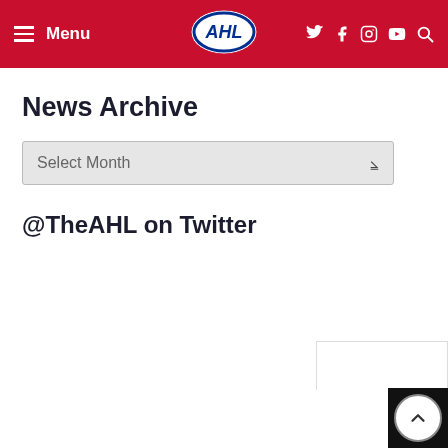Menu | AHL | Twitter Facebook Instagram YouTube Search
News Archive
Select Month
@TheAHL on Twitter